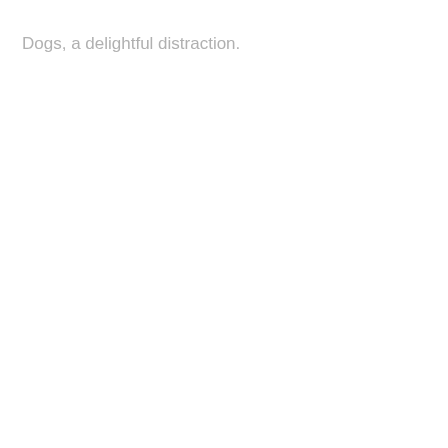Dogs, a delightful distraction.